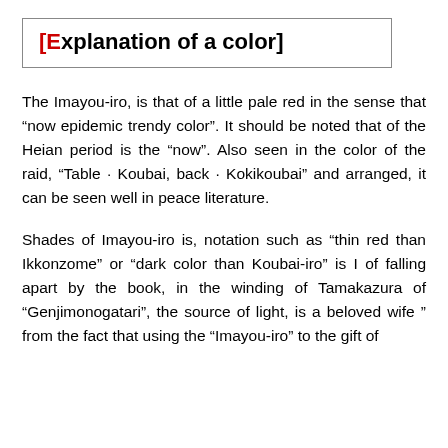[Explanation of a color]
The Imayou-iro, is that of a little pale red in the sense that “now epidemic trendy color”. It should be noted that of the Heian period is the “now”. Also seen in the color of the raid, “Table · Koubai, back · Kokikoubai” and arranged, it can be seen well in peace literature.
Shades of Imayou-iro is, notation such as “thin red than Ikkonzome” or “dark color than Koubai-iro” is I of falling apart by the book, in the winding of Tamakazura of “Genjimonogatari”, the source of light, is a beloved wife ” from the fact that using the “Imayou-iro” to the gift of